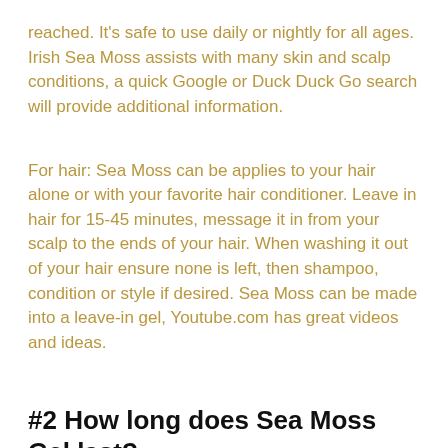reached. It's safe to use daily or nightly for all ages. Irish Sea Moss assists with many skin and scalp conditions, a quick Google or Duck Duck Go search will provide additional information.
For hair: Sea Moss can be applies to your hair alone or with your favorite hair conditioner. Leave in hair for 15-45 minutes, message it in from your scalp to the ends of your hair. When washing it out of your hair ensure none is left, then shampoo, condition or style if desired. Sea Moss can be made into a leave-in gel, Youtube.com has great videos and ideas.
#2 How long does Sea Moss Gel last?
With the jar lid off, keep in the refrigerator for 4 to 6 weeks. To freeze, remove gel from the glass jar into a